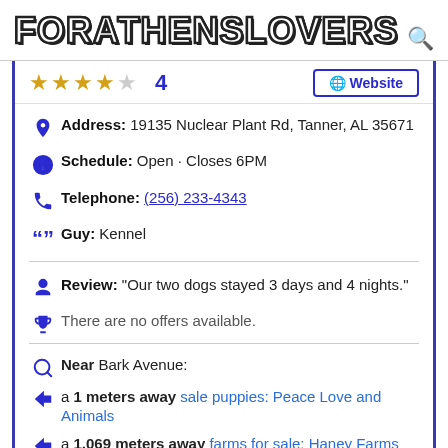FORATHENSLOVERS
★★★★☆  4  [Website button]
Address: 19135 Nuclear Plant Rd, Tanner, AL 35671
Schedule: Open · Closes 6PM
Telephone: (256) 233-4343
Guy: Kennel
Review: "Our two dogs stayed 3 days and 4 nights."
There are no offers available.
Near Bark Avenue:
a 1 meters away sale puppies: Peace Love and Animals
a 1,069 meters away farms for sale: Haney Farms
Are you the owner of the business? PROMOTE